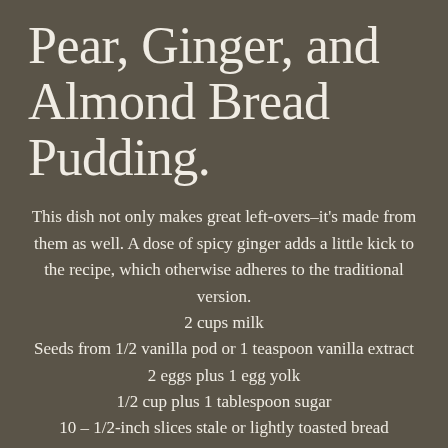Pear, Ginger, and Almond Bread Pudding.
This dish not only makes great left-overs–it's made from them as well. A dose of spicy ginger adds a little kick to the recipe, which otherwise adheres to the traditional version.
2 cups milk
Seeds from 1/2 vanilla pod or 1 teaspoon vanilla extract
2 eggs plus 1 egg yolk
1/2 cup plus 1 tablespoon sugar
10 – 1/2-inch slices stale or lightly toasted bread
2 tablespoon butter, at room temperature